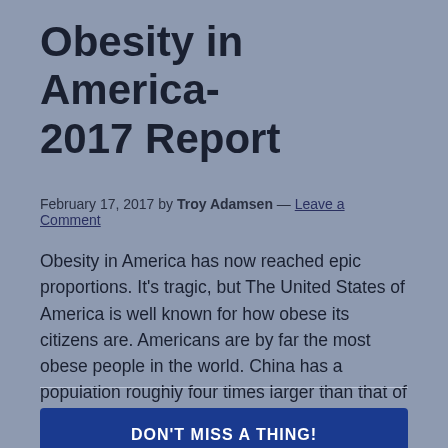Obesity in America- 2017 Report
February 17, 2017 by Troy Adamsen — Leave a Comment
Obesity in America has now reached epic proportions. It's tragic, but The United States of America is well known for how obese its citizens are. Americans are by far the most obese people in the world. China has a population roughly four times larger than that of the US and still has less obese people. [...]
DON'T MISS A THING!